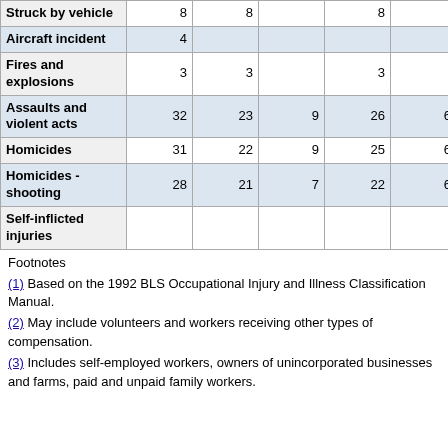| Struck by vehicle | 8 | 8 |  | 8 |  |
| Aircraft incident | 4 |  |  |  |  |
| Fires and explosions | 3 | 3 |  | 3 |  |
| Assaults and violent acts | 32 | 23 | 9 | 26 | 6 |
| Homicides | 31 | 22 | 9 | 25 | 6 |
| Homicides - shooting | 28 | 21 | 7 | 22 | 6 |
| Self-inflicted injuries |  |  |  |  |  |
Footnotes
(1) Based on the 1992 BLS Occupational Injury and Illness Classification Manual.
(2) May include volunteers and workers receiving other types of compensation.
(3) Includes self-employed workers, owners of unincorporated businesses and farms, paid and unpaid family workers.